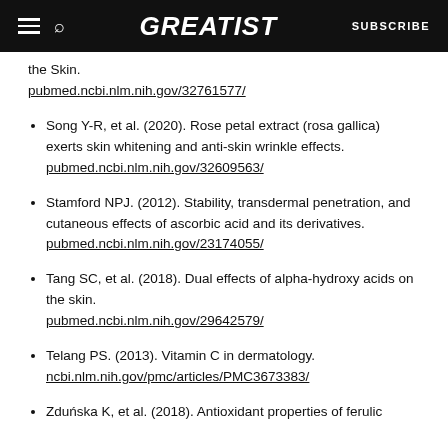GREATIST | SUBSCRIBE
the Skin.
pubmed.ncbi.nlm.nih.gov/32761577/
Song Y-R, et al. (2020). Rose petal extract (rosa gallica) exerts skin whitening and anti-skin wrinkle effects.
pubmed.ncbi.nlm.nih.gov/32609563/
Stamford NPJ. (2012). Stability, transdermal penetration, and cutaneous effects of ascorbic acid and its derivatives.
pubmed.ncbi.nlm.nih.gov/23174055/
Tang SC, et al. (2018). Dual effects of alpha-hydroxy acids on the skin.
pubmed.ncbi.nlm.nih.gov/29642579/
Telang PS. (2013). Vitamin C in dermatology.
ncbi.nlm.nih.gov/pmc/articles/PMC3673383/
Zduńska K, et al. (2018). Antioxidant properties of ferulic